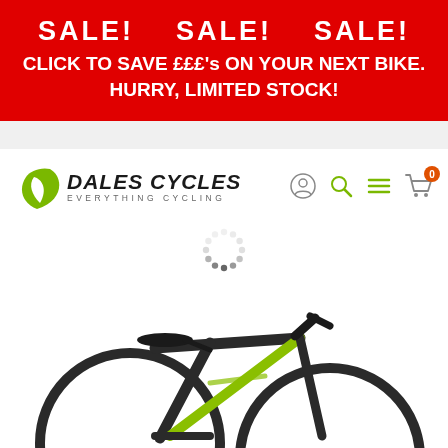SALE!    SALE!    SALE!
CLICK TO SAVE £££'s ON YOUR NEXT BIKE. HURRY, LIMITED STOCK!
[Figure (logo): Dales Cycles logo with green leaf icon and text 'DALES CYCLES EVERYTHING CYCLING' with navigation icons (user, search, menu, cart with badge 0)]
[Figure (photo): Partial view of a dark gray and lime green road/hybrid bicycle, showing the frame, saddle, and handlebars against a white background]